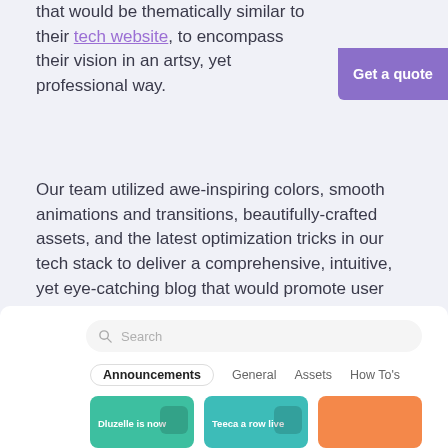that would be thematically similar to their tech website, to encompass their vision in an artsy, yet professional way.
Get a quote
Our team utilized awe-inspiring colors, smooth animations and transitions, beautifully-crafted assets, and the latest optimization tricks in our tech stack to deliver a comprehensive, intuitive, yet eye-catching blog that would promote user acquisition and retention.
Customizability is our motto, so we implemented a variety of user-oriented features such as Dark Mode, which reduces eye strain and helps users read through content for prolonged periods of time.
[Figure (screenshot): Blog interface screenshot showing a search bar, category tabs (Announcements, General, Assets, How To's), and colorful blog post cards at the bottom.]